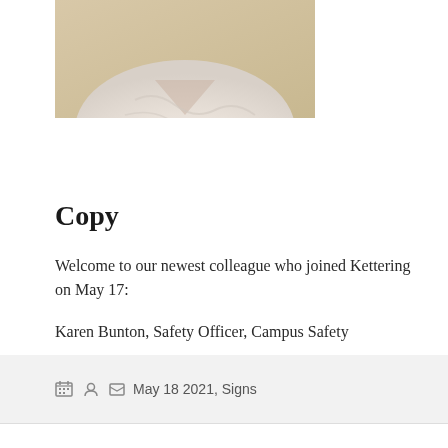[Figure (photo): Photo of a person wearing a white blouse, cropped at torso/neck level]
Copy
Welcome to our newest colleague who joined Kettering on May 17:
Karen Bunton, Safety Officer, Campus Safety
May 18 2021, Signs